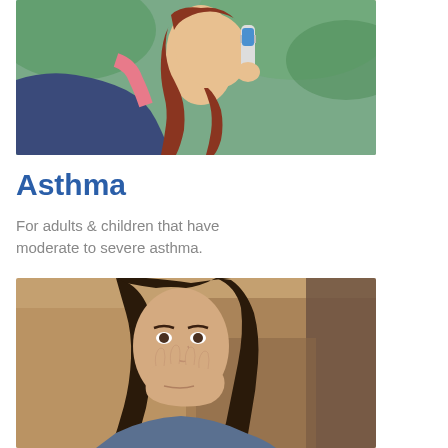[Figure (photo): Young woman with red hair in a ponytail using an inhaler outdoors, wearing a pink top, green background]
Asthma
For adults & children that have moderate to severe asthma.
SEE IF YOU QUALIFY
[Figure (photo): Young brunette woman with long hair covering her mouth with her hand, looking upward, outdoor background]